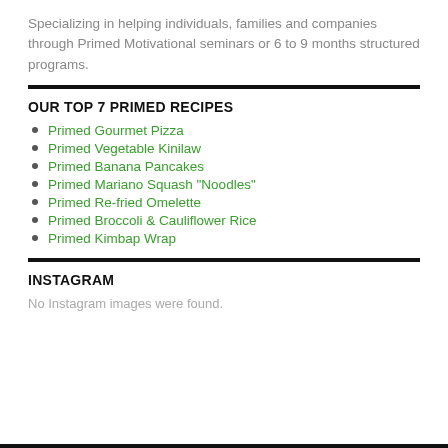Specializing in helping individuals, families and companies through Primed Motivational seminars or 6 to 9 months structured programs.
OUR TOP 7 PRIMED RECIPES
Primed Gourmet Pizza
Primed Vegetable Kinilaw
Primed Banana Pancakes
Primed Mariano Squash "Noodles"
Primed Re-fried Omelette
Primed Broccoli & Cauliflower Rice
Primed Kimbap Wrap
INSTAGRAM
No Instagram images were found.